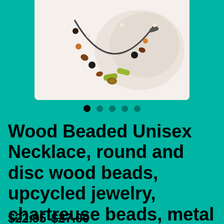[Figure (photo): Photo of a wood beaded necklace with colorful beads including chartreuse, brown, black, and amber tones, displayed on white fabric background]
• ○ ○ ○ ○ (navigation dots, first active)
Wood Beaded Unisex Necklace, round and disc wood beads, upcycled jewelry, chartreuse beads, metal tube beads, hook closure, masculine, gift
$22.95  $27.00